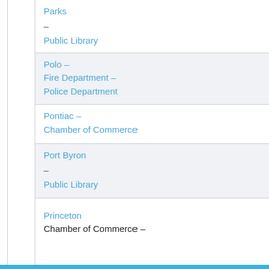| Parks
–
Public Library |
| Polo –
Fire Department –
Police Department |
| Pontiac –
Chamber of Commerce |
| Port Byron
–
Public Library |
| Princeton
Chamber of Commerce – |